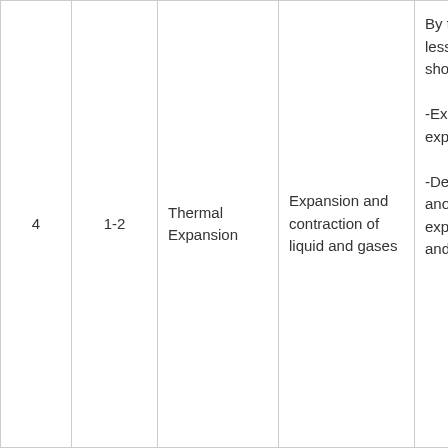| 4 | 1-2 | Thermal Expansion | Expansion and contraction of liquid and gases | By the end of the lesson, the learner should be able to:-

-Explain the expansion of liquid.

-Describe the anomalous expansion of water and its effect | -Discus

-Experi

-
Demon |